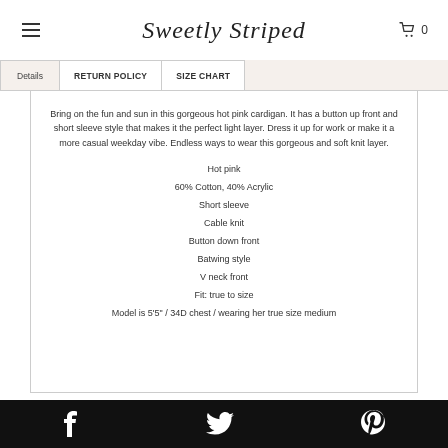Sweetly Striped
Details | RETURN POLICY | SIZE CHART
Bring on the fun and sun in this gorgeous hot pink cardigan. It has a button up front and short sleeve style that makes it the perfect light layer. Dress it up for work or make it a more casual weekday vibe. Endless ways to wear this gorgeous and soft knit layer.
Hot pink
60% Cotton, 40% Acrylic
Short sleeve
Cable knit
Button down front
Batwing style
V neck front
Fit: true to size
Model is 5'5" / 34D chest / wearing her true size medium
Facebook | Twitter | Pinterest